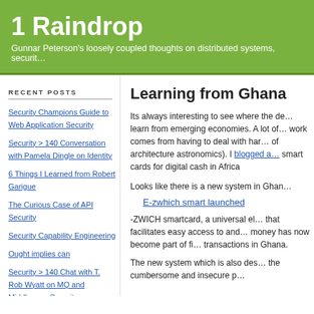1 Raindrop
Gunnar Peterson's loosely coupled thoughts on distributed systems, securit…
RECENT POSTS
Security Champions Guide to Web Application Security
Security > 140 Conversation with Pamela Dingle on Identity
6 Things I Learned from Robert Garigue
The Curious Case of API Security
Security Capability Engineering
Ought implies can
Security > 140 Chat with T. Rob Wyatt on MQ and Middleware Security
Privilege User Management Bubble?
The part where security products solve the problem
Four Often Overlooked Factors to
Learning from Ghana
Its always interesting to see where the de… learn from emerging economies. A lot of… work comes from having to deal with har… of architecture astronomics). I blogged a… smart cards for digital cash in Africa
Looks like there is a new system in Ghan…
E-zwhich smart launched
-ZWICH smartcard, a universal el… that facilitates easy access to and… money has now become part of fi… transactions in Ghana.
The new system which is also des… the cumbersome and insecure p…